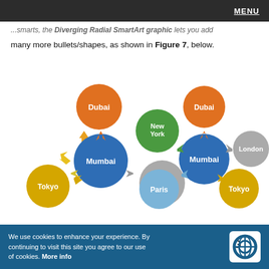MENU
...smarts, the Diverging Radial SmartArt graphic lets you add many more bullets/shapes, as shown in Figure 7, below.
[Figure (infographic): Two side-by-side Diverging Radial SmartArt graphics. Left graphic: center blue circle 'Mumbai' with arrows to orange 'Dubai' (top), yellow 'Tokyo' (left), gray 'London' (right). Right graphic: center blue circle 'Mumbai' with more satellites: orange 'Dubai' (top), green 'New York' (upper-left), gray 'London' (right), light-blue 'Paris' (lower-left), yellow 'Tokyo' (lower-right).]
Figure 7: Add more bullets/shapes to the Diverging Radial SmartArt graphic
We use cookies to enhance your experience. By continuing to visit this site you agree to our use of cookies. More info